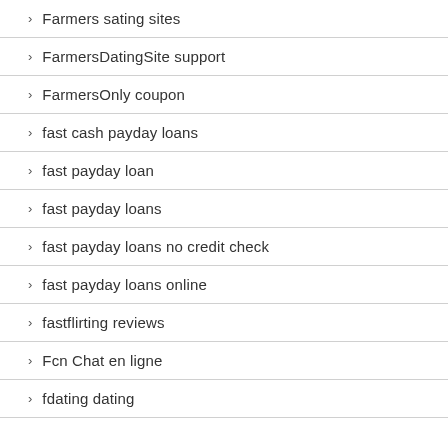Farmers sating sites
FarmersDatingSite support
FarmersOnly coupon
fast cash payday loans
fast payday loan
fast payday loans
fast payday loans no credit check
fast payday loans online
fastflirting reviews
Fcn Chat en ligne
fdating dating